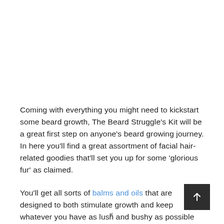Coming with everything you might need to kickstart some beard growth, The Beard Struggle's Kit will be a great first step on anyone's beard growing journey. In here you'll find a great assortment of facial hair-related goodies that'll set you up for some 'glorious fur' as claimed.
You'll get all sorts of balms and oils that are designed to both stimulate growth and keep whatever you have as lush and bushy as possible along with shampoo and conditioner to ensure that